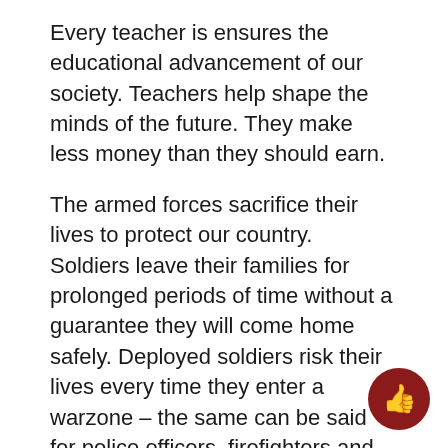Every teacher is ensures the educational advancement of our society. Teachers help shape the minds of the future. They make less money than they should earn.
The armed forces sacrifice their lives to protect our country. Soldiers leave their families for prolonged periods of time without a guarantee they will come home safely. Deployed soldiers risk their lives every time they enter a warzone – the same can be said for police officers, firefighters and emergency responders.
Doctors and physicians save the lives of countless people, and they spend years paying off the debt accrued from medical school.
Let us not forget the salary of the most important job in the entire world. The